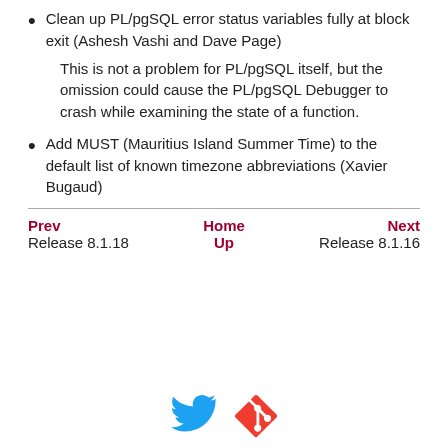Clean up PL/pgSQL error status variables fully at block exit (Ashesh Vashi and Dave Page)
This is not a problem for PL/pgSQL itself, but the omission could cause the PL/pgSQL Debugger to crash while examining the state of a function.
Add MUST (Mauritius Island Summer Time) to the default list of known timezone abbreviations (Xavier Bugaud)
| Prev | Home | Next |
| --- | --- | --- |
| Release 8.1.18 | Up | Release 8.1.16 |
[Figure (logo): Twitter bird logo (blue) and Git logo (red diamond)]